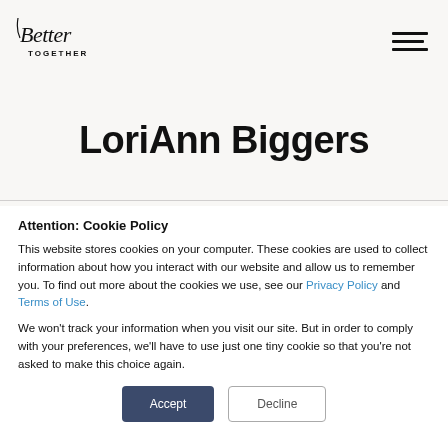[Figure (logo): Better Together cursive logo in top left]
[Figure (other): Hamburger menu icon (three horizontal lines) in top right]
LoriAnn Biggers
Attention: Cookie Policy
This website stores cookies on your computer. These cookies are used to collect information about how you interact with our website and allow us to remember you. To find out more about the cookies we use, see our Privacy Policy and Terms of Use.
We won't track your information when you visit our site. But in order to comply with your preferences, we'll have to use just one tiny cookie so that you're not asked to make this choice again.